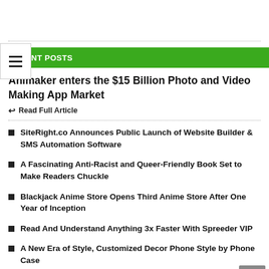☰ (hamburger menu icon)
RECENT POSTS
Animaker enters the $15 Billion Photo and Video Making App Market
↩ Read Full Article
SiteRight.co Announces Public Launch of Website Builder & SMS Automation Software
A Fascinating Anti-Racist and Queer-Friendly Book Set to Make Readers Chuckle
Blackjack Anime Store Opens Third Anime Store After One Year of Inception
Read And Understand Anything 3x Faster With Spreeder VIP
A New Era of Style, Customized Decor Phone Style by Phone Case